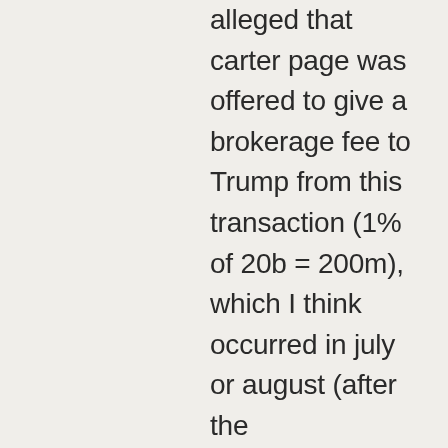alleged that carter page was offered to give a brokerage fee to Trump from this transaction (1% of 20b = 200m), which I think occurred in july or august (after the convention).   This also fits w/EW hypothesis it would be more attractive to layer out quid via multiple parties as a way to maintain leverage over the person, than to give the person an enormous tower with his name on it